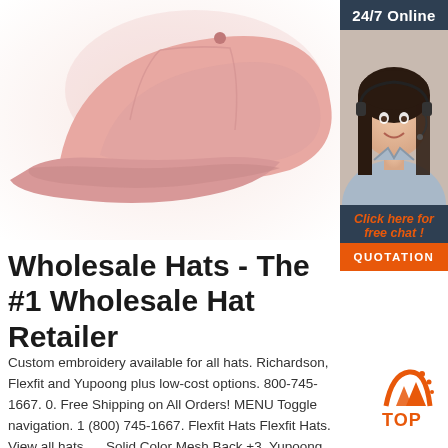[Figure (photo): Pink baseball cap product photo on white/light background]
[Figure (photo): 24/7 Online banner with customer service agent wearing headset, smiling, with 'Click here for free chat!' text and orange QUOTATION button]
Wholesale Hats - The #1 Wholesale Hat Retailer
Custom embroidery available for all hats. Richardson, Flexfit and Yupoong plus low-cost options. 800-745-1667. 0. Free Shipping on All Orders! MENU Toggle navigation. 1 (800) 745-1667. Flexfit Hats Flexfit Hats. View all hats. ... Solid Color Mesh Back +3. Yupoong Classic 5-Panel +1. Yupoong Classic Flat Bill. Hottest Winter Hats +16 ...
[Figure (logo): Orange TOP logo with mountain/tent icon]